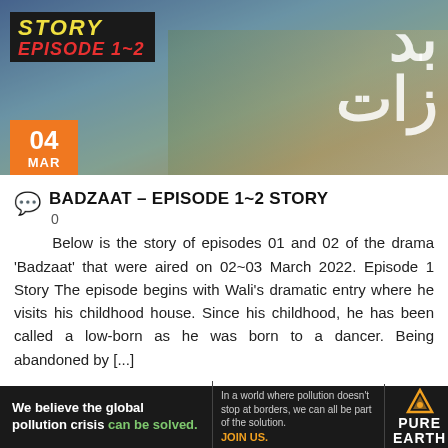[Figure (photo): Hero image for Badzaat drama with 'STORY EPISODE 1~2' text overlay badge in yellow/red on dark background, and Arabic/Urdu text on the right. Date badge '04 MAR' in orange at bottom left.]
BADZAAT – EPISODE 1~2 STORY
Below is the story of episodes 01 and 02 of the drama 'Badzaat' that were aired on 02~03 March 2022. Episode 1 Story The episode begins with Wali's dramatic entry where he visits his childhood house. Since his childhood, he has been called a low-born as he was born to a dancer. Being abandoned by [...]
You May Also Like...
Sponsored Links by Taboola
[Figure (photo): Advertisement banner for Pure Earth: 'We believe the global pollution crisis can be solved.' with Pure Earth logo on dark background.]